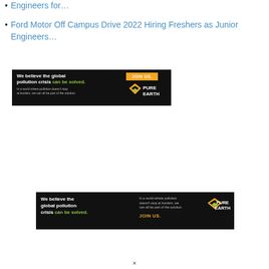Engineers for…
Ford Motor Off Campus Drive 2022 Hiring Freshers as Junior Engineers…
[Figure (other): Pure Earth advertisement banner (small): 'We believe the global pollution crisis can be solved. In a world where pollution doesn't stop at borders, we can all be part of the solution. JOIN US.' with Pure Earth logo]
[Figure (other): Pure Earth advertisement banner (wide): 'We believe the global pollution crisis can be solved. In a world where pollution doesn't stop at borders, we can all be part of the solution. JOIN US.' with Pure Earth logo]
×